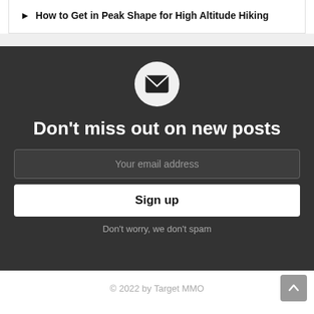How to Get in Peak Shape for High Altitude Hiking
[Figure (illustration): Email newsletter signup widget with envelope icon, heading, email input field, sign up button, and no-spam note]
Don't miss out on new posts
Your email address
Sign up
Don't worry, we don't spam
© 2022 by Target MMO